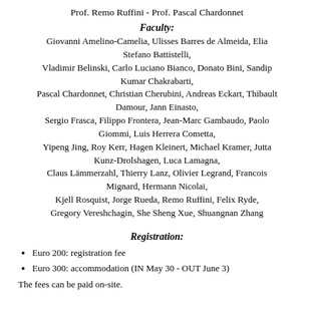Prof. Remo Ruffini - Prof. Pascal Chardonnet
Faculty:
Giovanni Amelino-Camelia, Ulisses Barres de Almeida, Elia Stefano Battistelli, Vladimir Belinski, Carlo Luciano Bianco, Donato Bini, Sandip Kumar Chakrabarti, Pascal Chardonnet, Christian Cherubini, Andreas Eckart, Thibault Damour, Jann Einasto, Sergio Frasca, Filippo Frontera, Jean-Marc Gambaudo, Paolo Giommi, Luis Herrera Cometta, Yipeng Jing, Roy Kerr, Hagen Kleinert, Michael Kramer, Jutta Kunz-Drolshagen, Luca Lamagna, Claus Lämmerzahl, Thierry Lanz, Olivier Legrand, Francois Mignard, Hermann Nicolai, Kjell Rosquist, Jorge Rueda, Remo Ruffini, Felix Ryde, Gregory Vereshchagin, She Sheng Xue, Shuangnan Zhang
Registration:
Euro 200: registration fee
Euro 300: accommodation (IN May 30 - OUT June 3)
The fees can be paid on-site.